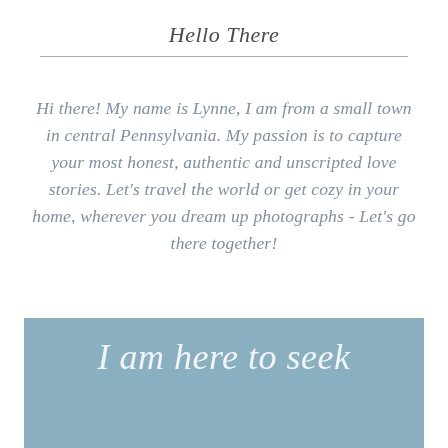Hello There
Hi there! My name is Lynne, I am from a small town in central Pennsylvania. My passion is to capture your most honest, authentic and unscripted love stories. Let's travel the world or get cozy in your home, wherever you dream up photographs - Let's go there together!
I am here to seek